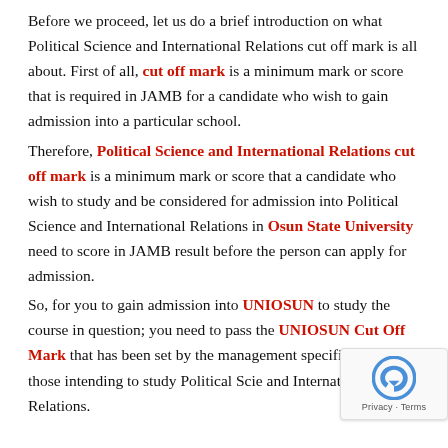Before we proceed, let us do a brief introduction on what Political Science and International Relations cut off mark is all about. First of all, cut off mark is a minimum mark or score that is required in JAMB for a candidate who wish to gain admission into a particular school.
Therefore, Political Science and International Relations cut off mark is a minimum mark or score that a candidate who wish to study and be considered for admission into Political Science and International Relations in Osun State University need to score in JAMB result before the person can apply for admission.
So, for you to gain admission into UNIOSUN to study the course in question; you need to pass the UNIOSUN Cut Off Mark that has been set by the management specifically for those intending to study Political Science and International Relations.